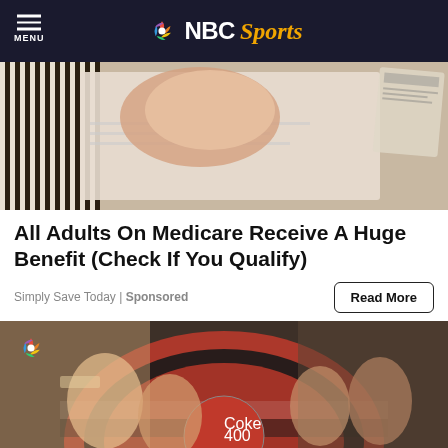NBC Sports
[Figure (photo): Close-up photo of hands holding papers/documents, advertisement image for Medicare benefit]
All Adults On Medicare Receive A Huge Benefit (Check If You Qualify)
Simply Save Today | Sponsored
[Figure (photo): NASCAR victory lane photo with driver and family celebrating at Coke 400, NBC Sports watermark visible]